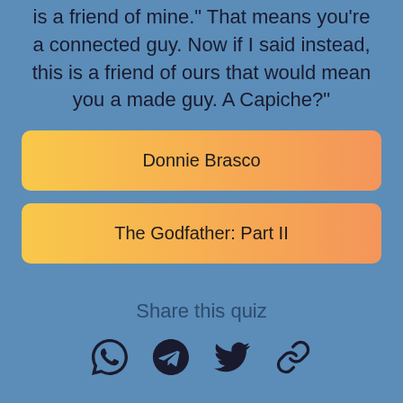When I introduce you, I'm gonna say, "This is a friend of mine." That means you're a connected guy. Now if I said instead, this is a friend of ours that would mean you a made guy. A Capiche?"
Donnie Brasco
The Godfather: Part II
Share this quiz
[Figure (infographic): Row of four social share icons: WhatsApp, Telegram, Twitter, and a link/chain icon]